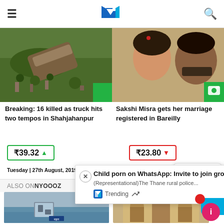NYOOOZ - My City My News
[Figure (photo): News image: overturned truck in hilly area with crowd]
[Figure (photo): News image: woman and man portrait (Sakshi Misra story)]
Breaking: 16 killed as truck hits two tempos in Shahjahanpur
Sakshi Misra gets her marriage registered in Bareilly
₹39.32 ▲
₹23.80 ▼
Tuesday | 27th August, 2019
Thursday | 22nd Aug
View & Post Comments Here
Child porn on WhatsApp: Invite to join group shared through Facebook claim...
(Representational)The Thane rural police...
Trending
Read Next
ALSO ON NYOOOZ
[Figure (photo): Bottom left news image - flood/water scene]
[Figure (photo): Bottom right news image - mosque/temple architecture]